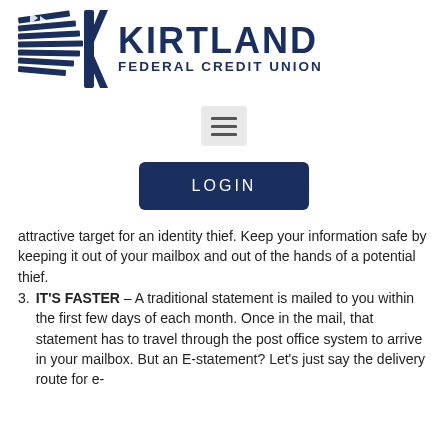[Figure (logo): Kirtland Federal Credit Union logo with stylized flag icon on the left and bold dark navy text reading KIRTLAND FEDERAL CREDIT UNION on the right]
[Figure (screenshot): Hamburger menu button (three horizontal lines) on a light gray rounded rectangle background]
[Figure (screenshot): Dark navy LOGIN button with white letter-spaced text]
attractive target for an identity thief. Keep your information safe by keeping it out of your mailbox and out of the hands of a potential thief.
IT'S FASTER – A traditional statement is mailed to you within the first few days of each month. Once in the mail, that statement has to travel through the post office system to arrive in your mailbox. But an E-statement? Let's just say the delivery route for e-